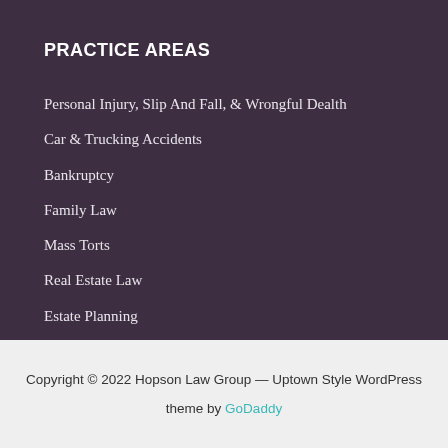PRACTICE AREAS
Personal Injury, Slip And Fall, & Wrongful Dealth
Car & Trucking Accidents
Bankruptcy
Family Law
Mass Torts
Real Estate Law
Estate Planning
Business Law
Copyright © 2022 Hopson Law Group — Uptown Style WordPress
theme by GoDaddy